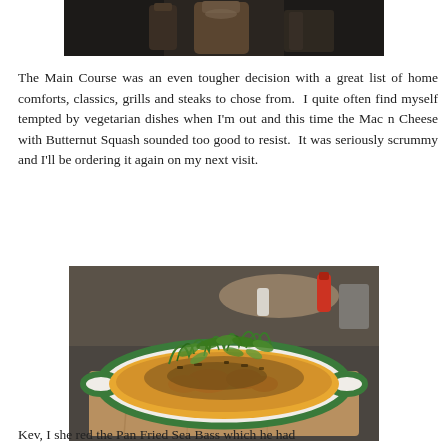[Figure (photo): Partial photo of drinks/glasses on a dark table, cropped at top of page]
The Main Course was an even tougher decision with a great list of home comforts, classics, grills and steaks to chose from. I quite often find myself tempted by vegetarian dishes when I'm out and this time the Mac n Cheese with Butternut Squash sounded too good to resist. It was seriously scrummy and I'll be ordering it again on my next visit.
[Figure (photo): Photo of a bowl of Mac n Cheese with Butternut Squash, topped with rocket/arugula leaves, served in a green-rimmed white dish on a wooden board]
Kev, I she red the Pan Fried Sea Bass which he had